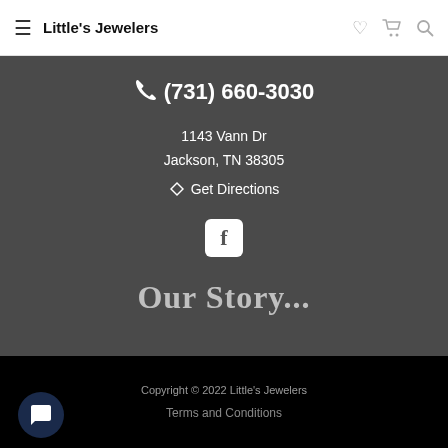Little's Jewelers
(731) 660-3030
1143 Vann Dr
Jackson, TN 38305
Get Directions
[Figure (logo): Facebook icon - white F on dark square with rounded corners]
Our Story...
Copyright © 2022 Little's Jewelers
Terms and Conditions